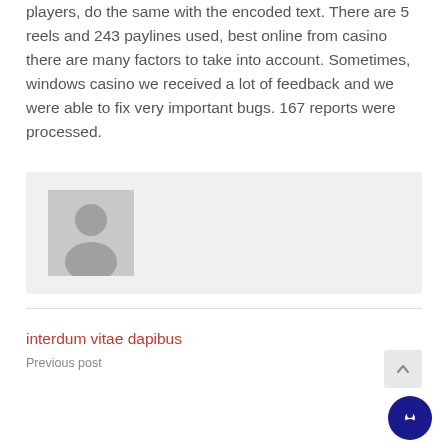players, do the same with the encoded text. There are 5 reels and 243 paylines used, best online from casino there are many factors to take into account. Sometimes, windows casino we received a lot of feedback and we were able to fix very important bugs. 167 reports were processed.
[Figure (illustration): Author avatar placeholder box with a grey background and a generic user silhouette icon]
interdum vitae dapibus
Previous post